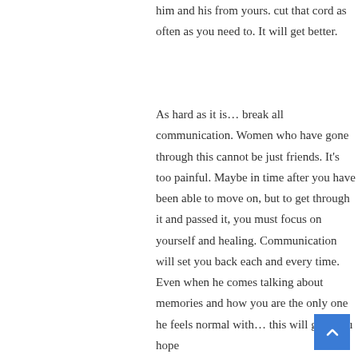him and his from yours. cut that cord as often as you need to. It will get better.
As hard as it is… break all communication. Women who have gone through this cannot be just friends. It's too painful. Maybe in time after you have been able to move on, but to get through it and passed it, you must focus on yourself and healing. Communication will set you back each and every time. Even when he comes talking about memories and how you are the only one he feels normal with… this will give you hope and then…